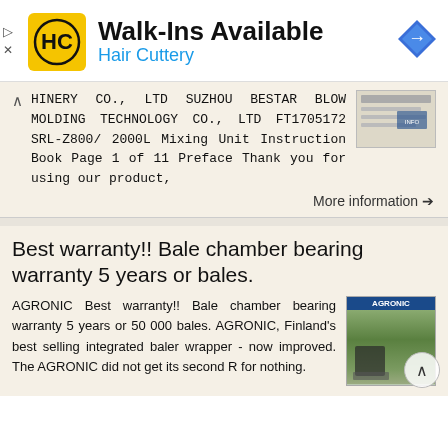[Figure (logo): Hair Cuttery ad banner with HC logo, Walk-Ins Available text, and navigation arrow icon]
HINERY CO., LTD SUZHOU BESTAR BLOW MOLDING TECHNOLOGY CO., LTD FT1705172 SRL-Z800/ 2000L Mixing Unit Instruction Book Page 1 of 11 Preface Thank you for using our product,
More information →
Best warranty!! Bale chamber bearing warranty 5 years or bales.
AGRONIC Best warranty!! Bale chamber bearing warranty 5 years or 50 000 bales. AGRONIC, Finland's best selling integrated baler wrapper - now improved. The AGRONIC did not get its second R for nothing.